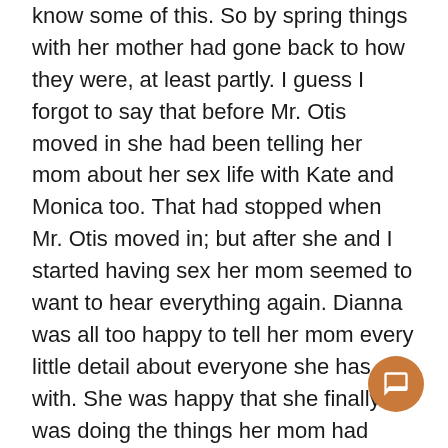know some of this. So by spring things with her mother had gone back to how they were, at least partly. I guess I forgot to say that before Mr. Otis moved in she had been telling her mom about her sex life with Kate and Monica too. That had stopped when Mr. Otis moved in; but after she and I started having sex her mom seemed to want to hear everything again. Dianna was all too happy to tell her mom every little detail about everyone she has sex with. She was happy that she finally was doing the things her mom had talked about. Like Mrs. Flint had told you, in April she started screwing a guy who goes to Francis Marion in her neighborhood, and in May she start...
[Figure (other): Orange/brown circular chat button icon with speech bubble symbol, positioned bottom-right corner]